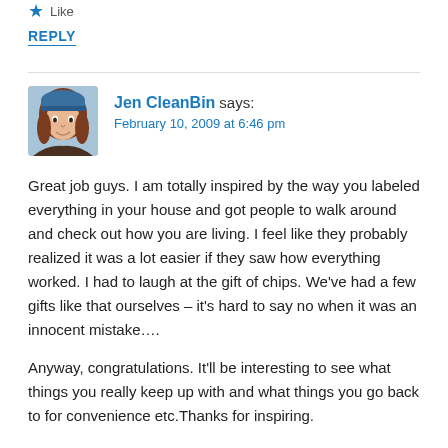Like
REPLY
Jen CleanBin says:
February 10, 2009 at 6:46 pm
[Figure (photo): Avatar photo of Jen CleanBin, a woman with reddish-brown hair wearing a blue beanie hat]
Great job guys. I am totally inspired by the way you labeled everything in your house and got people to walk around and check out how you are living. I feel like they probably realized it was a lot easier if they saw how everything worked. I had to laugh at the gift of chips. We've had a few gifts like that ourselves – it's hard to say no when it was an innocent mistake….
Anyway, congratulations. It'll be interesting to see what things you really keep up with and what things you go back to for convenience etc.Thanks for inspiring.